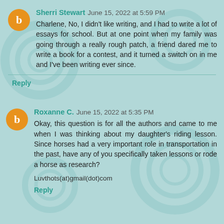Sherri Stewart June 15, 2022 at 5:59 PM
Charlene, No, I didn't like writing, and I had to write a lot of essays for school. But at one point when my family was going through a really rough patch, a friend dared me to write a book for a contest, and it turned a switch on in me and I've been writing ever since.
Reply
Roxanne C. June 15, 2022 at 5:35 PM
Okay, this question is for all the authors and came to me when I was thinking about my daughter's riding lesson. Since horses had a very important role in transportation in the past, have any of you specifically taken lessons or rode a horse as research?
Luvthots(at)gmail(dot)com
Reply